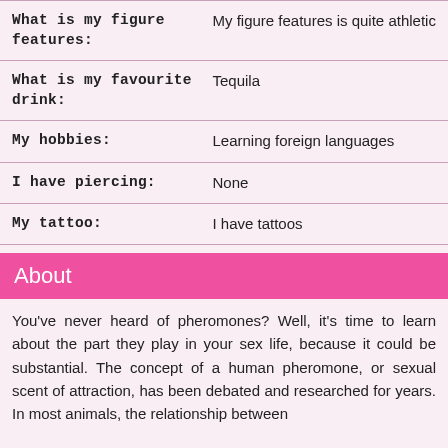| Field | Value |
| --- | --- |
| What is my figure features: | My figure features is quite athletic |
| What is my favourite drink: | Tequila |
| My hobbies: | Learning foreign languages |
| I have piercing: | None |
| My tattoo: | I have tattoos |
About
You've never heard of pheromones? Well, it's time to learn about the part they play in your sex life, because it could be substantial. The concept of a human pheromone, or sexual scent of attraction, has been debated and researched for years. In most animals, the relationship between